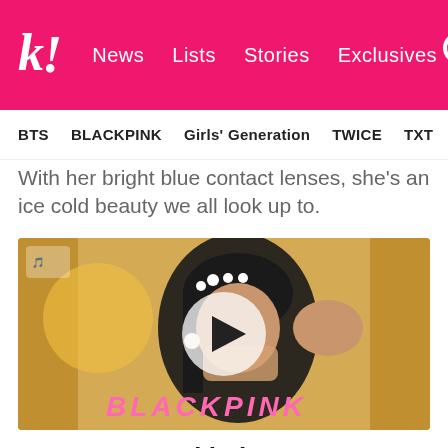k! News Lists Stories Exclusives
BTS BLACKPINK Girls' Generation TWICE TXT SEVE
With her bright blue contact lenses, she's an ice cold beauty we all look up to.
[Figure (photo): Video thumbnail showing a young woman with dark hair adorned with pearl headband, wearing a black outfit with a mask pulled down, with a play button overlay. BLACKPINK text in pink appears at the bottom of the image.]
2. In two-toned hair